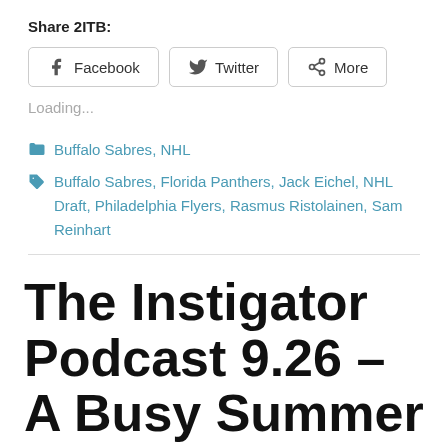Share 2ITB:
[Figure (other): Social share buttons: Facebook, Twitter, More]
Loading...
Buffalo Sabres, NHL
Buffalo Sabres, Florida Panthers, Jack Eichel, NHL Draft, Philadelphia Flyers, Rasmus Ristolainen, Sam Reinhart
The Instigator Podcast 9.26 – A Busy Summer Awaits featuring Lance